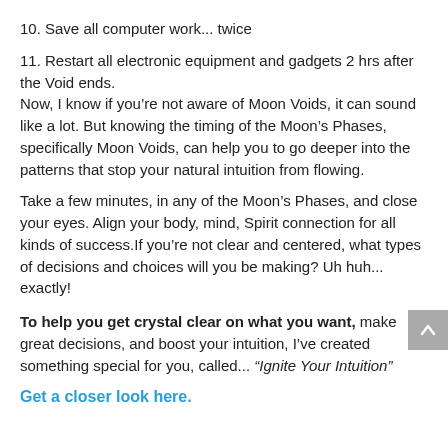10. Save all computer work... twice
11. Restart all electronic equipment and gadgets 2 hrs after the Void ends.
Now, I know if you’re not aware of Moon Voids, it can sound like a lot. But knowing the timing of the Moon’s Phases, specifically Moon Voids, can help you to go deeper into the patterns that stop your natural intuition from flowing.
Take a few minutes, in any of the Moon’s Phases, and close your eyes. Align your body, mind, Spirit connection for all kinds of success.If you’re not clear and centered, what types of decisions and choices will you be making? Uh huh... exactly!
To help you get crystal clear on what you want, make great decisions, and boost your intuition, I’ve created something special for you, called... “Ignite Your Intuition”
Get a closer look here.